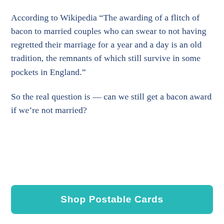According to Wikipedia “The awarding of a flitch of bacon to married couples who can swear to not having regretted their marriage for a year and a day is an old tradition, the remnants of which still survive in some pockets in England.”
So the real question is — can we still get a bacon award if we’re not married?
Shop Postable Cards